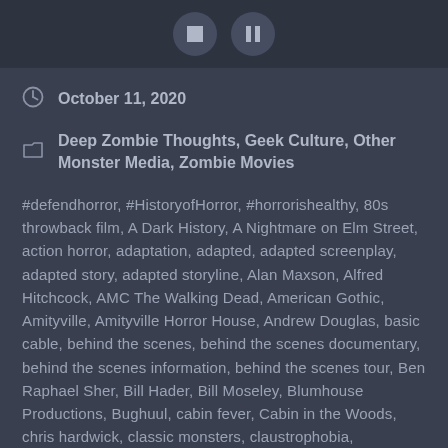[Figure (screenshot): Top bar with stop and pause button icons]
October 11, 2020
Deep Zombie Thoughts, Geek Culture, Other Monster Media, Zombie Movies
#defendhorror, #HistoryofHorror, #horrorishealthy, 80s throwback film, A Dark History, A Nightmare on Elm Street, action horror, adaptation, adapted, adapted screenplay, adapted story, adapted storyline, Alan Maxson, Alfred Hitchcock, AMC The Walking Dead, American Gothic, Amityville, Amityville Horror House, Andrew Douglas, basic cable, behind the scenes, behind the scenes documentary, behind the scenes information, behind the scenes tour, Ben Raphael Sher, Bill Hader, Bill Moseley, Blumhouse Productions, Bughuul, cabin fever, Cabin in the Woods, chris hardwick, classic monsters, claustrophobia, claustrophobic, Coronavirus disease, COVID-19, creature, creature effects, creature feature, creature suit, creature suit actor, creature suits, creatures, creepy, cult classic, cult classic movie, cult classic movies, cult classics, Cursed Films,